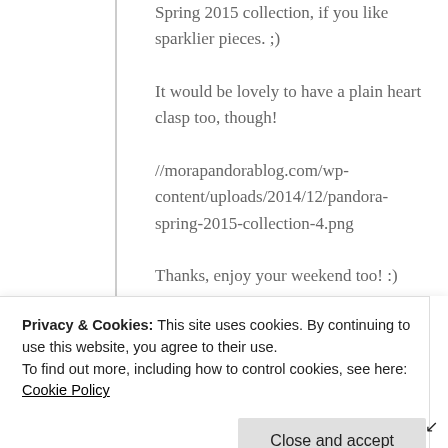Spring 2015 collection, if you like sparklier pieces. ;) It would be lovely to have a plain heart clasp too, though!
//morapandorablog.com/wp-content/uploads/2014/12/pandora-spring-2015-collection-4.png
Thanks, enjoy your weekend too! :)
Reply
happyface313 says:
January 10, 2015 at 8:18 pm
Privacy & Cookies: This site uses cookies. By continuing to use this website, you agree to their use.
To find out more, including how to control cookies, see here: Cookie Policy
Close and accept